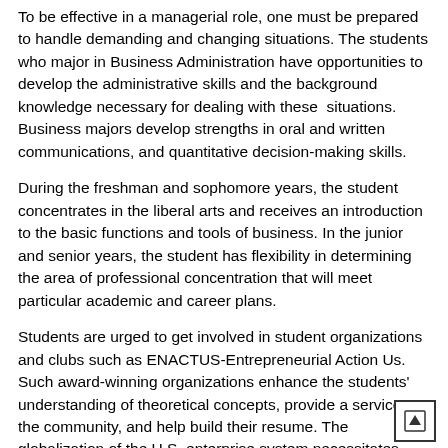To be effective in a managerial role, one must be prepared to handle demanding and changing situations. The students who major in Business Administration have opportunities to develop the administrative skills and the background knowledge necessary for dealing with these situations. Business majors develop strengths in oral and written communications, and quantitative decision-making skills.
During the freshman and sophomore years, the student concentrates in the liberal arts and receives an introduction to the basic functions and tools of business. In the junior and senior years, the student has flexibility in determining the area of professional concentration that will meet particular academic and career plans.
Students are urged to get involved in student organizations and clubs such as ENACTUS-Entrepreneurial Action Us. Such award-winning organizations enhance the students' understanding of theoretical concepts, provide a service to the community, and help build their resume. The globalization of the U.S. enterprise system necessitates exposure to other cultures, languages and customs, and a